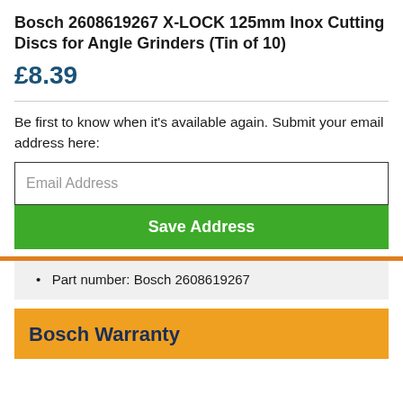Bosch 2608619267 X-LOCK 125mm Inox Cutting Discs for Angle Grinders (Tin of 10)
£8.39
Be first to know when it's available again. Submit your email address here:
Email Address
Save Address
Part number: Bosch 2608619267
Bosch Warranty